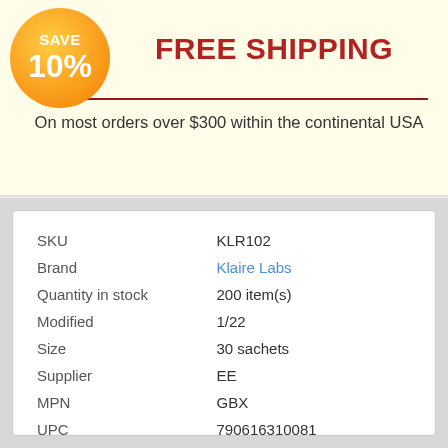[Figure (infographic): Orange circular badge with 'SAVE 10%' text in white]
FREE SHIPPING
On most orders over $300 within the continental USA
| SKU | KLR102 |
| Brand | Klaire Labs |
| Quantity in stock | 200 item(s) |
| Modified | 1/22 |
| Size | 30 sachets |
| Supplier | EE |
| MPN | GBX |
| UPC | 790616310081 |
| Market price: | $49.08 |
| Our Price: | $43.99 |